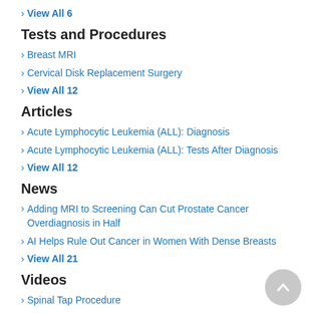> View All 6
Tests and Procedures
> Breast MRI
> Cervical Disk Replacement Surgery
> View All 12
Articles
> Acute Lymphocytic Leukemia (ALL): Diagnosis
> Acute Lymphocytic Leukemia (ALL): Tests After Diagnosis
> View All 12
News
> Adding MRI to Screening Can Cut Prostate Cancer Overdiagnosis in Half
> AI Helps Rule Out Cancer in Women With Dense Breasts
> View All 21
Videos
> Spinal Tap Procedure